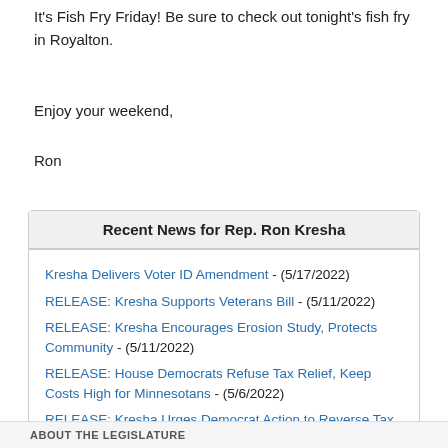It's Fish Fry Friday! Be sure to check out tonight's fish fry in Royalton.
Enjoy your weekend,
Ron
Recent News for Rep. Ron Kresha
Kresha Delivers Voter ID Amendment - (5/17/2022)
RELEASE: Kresha Supports Veterans Bill - (5/11/2022)
RELEASE: Kresha Encourages Erosion Study, Protects Community - (5/11/2022)
RELEASE: House Democrats Refuse Tax Relief, Keep Costs High for Minnesotans - (5/6/2022)
RELEASE: Kresha Urges Democrat Action to Reverse Tax Hike - (4/21/2022)
ABOUT THE LEGISLATURE